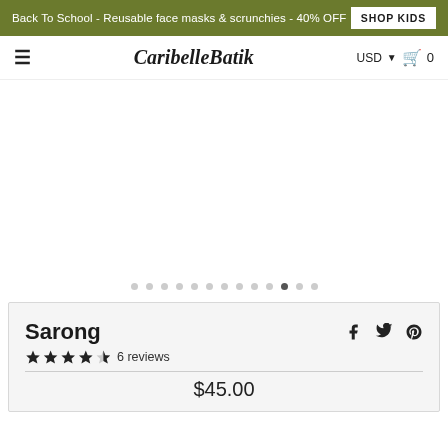Back To School - Reusable face masks & scrunchies - 40% OFF  SHOP KIDS
CaribelleBatik  USD  0
[Figure (photo): Product image carousel area (blank/white) with navigation dots below showing 13 dots, the 11th dot active]
Sarong
★★★★½ 6 reviews
$45.00